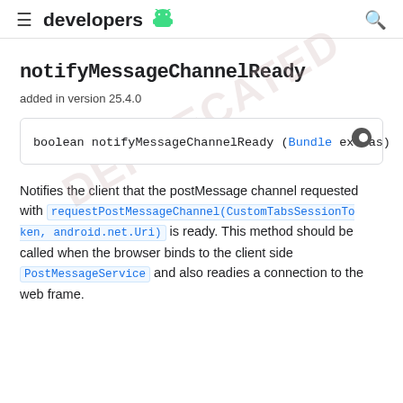≡ developers [android logo]
notifyMessageChannelReady
added in version 25.4.0
boolean notifyMessageChannelReady (Bundle extras)
Notifies the client that the postMessage channel requested with requestPostMessageChannel(CustomTabsSessionToken, android.net.Uri) is ready. This method should be called when the browser binds to the client side PostMessageService and also readies a connection to the web frame.